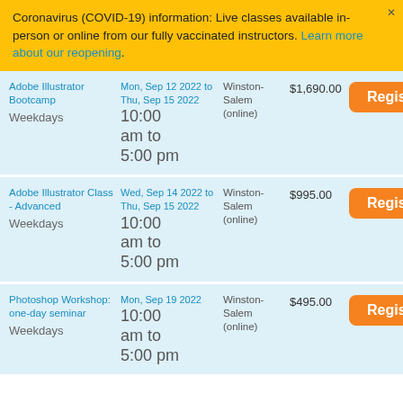Coronavirus (COVID-19) information: Live classes available in-person or online from our fully vaccinated instructors. Learn more about our reopening.
| Course | Date/Time | Location | Price | Action |
| --- | --- | --- | --- | --- |
| Adobe Illustrator Bootcamp
Weekdays | Mon, Sep 12 2022 to Thu, Sep 15 2022
10:00 am to 5:00 pm | Winston-Salem (online) | $1,690.00 | Register |
| Adobe Illustrator Class - Advanced
Weekdays | Wed, Sep 14 2022 to Thu, Sep 15 2022
10:00 am to 5:00 pm | Winston-Salem (online) | $995.00 | Register |
| Photoshop Workshop: one-day seminar
Weekdays | Mon, Sep 19 2022
10:00 am to 5:00 pm | Winston-Salem (online) | $495.00 | Register |